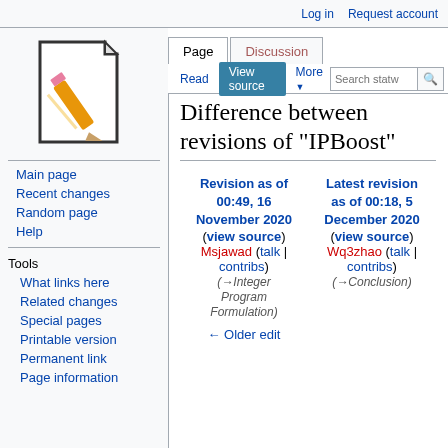Log in   Request account
[Figure (illustration): Wikipedia-style logo: a paper document with a pencil writing on it, line drawing style]
Main page
Recent changes
Random page
Help
Tools
What links here
Related changes
Special pages
Printable version
Permanent link
Page information
Difference between revisions of "IPBoost"
| Revision as of 00:49, 16 November 2020 | Latest revision as of 00:18, 5 December 2020 |
| --- | --- |
| (view source) | (view source) |
| Msjawad (talk | contribs) | Wq3zhao (talk | contribs) |
| (→Integer Program Formulation) | (→Conclusion) |
| ← Older edit |  |